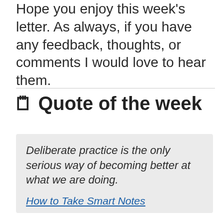Hope you enjoy this week's letter. As always, if you have any feedback, thoughts, or comments I would love to hear them.
🗒 Quote of the week
Deliberate practice is the only serious way of becoming better at what we are doing.

How to Take Smart Notes